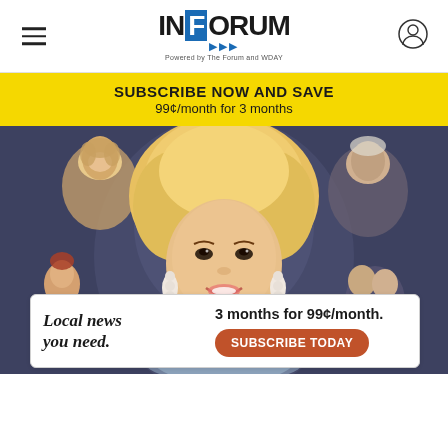INFORUM — Powered by The Forum and WDAY
SUBSCRIBE NOW AND SAVE
99¢/month for 3 months
[Figure (illustration): A painted illustration of a blonde woman (main subject, large portrait in center) surrounded by smaller figures in various poses — other women and men depicted in a vintage entertainment/celebrity collage style painting with a dark blue-grey background.]
Local news you need.
3 months for 99¢/month.
SUBSCRIBE TODAY